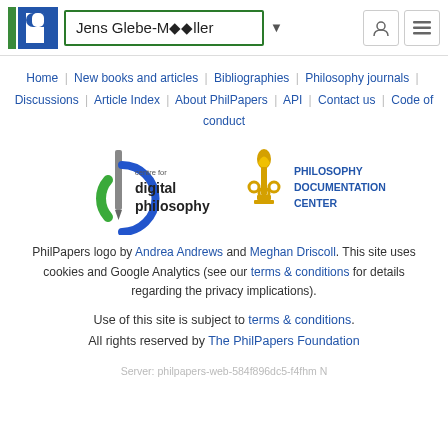Jens Glebe-Møller
Home | New books and articles | Bibliographies | Philosophy journals | Discussions | Article Index | About PhilPapers | API | Contact us | Code of conduct
[Figure (logo): Centre for Digital Philosophy logo and Philosophy Documentation Center logo]
PhilPapers logo by Andrea Andrews and Meghan Driscoll. This site uses cookies and Google Analytics (see our terms & conditions for details regarding the privacy implications).
Use of this site is subject to terms & conditions. All rights reserved by The PhilPapers Foundation
Server: philpapers-web-584f896dc5-f4fhm N